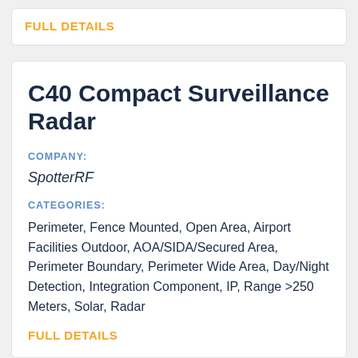FULL DETAILS
C40 Compact Surveillance Radar
COMPANY:
SpotterRF
CATEGORIES:
Perimeter, Fence Mounted, Open Area, Airport Facilities Outdoor, AOA/SIDA/Secured Area, Perimeter Boundary, Perimeter Wide Area, Day/Night Detection, Integration Component, IP, Range >250 Meters, Solar, Radar
FULL DETAILS